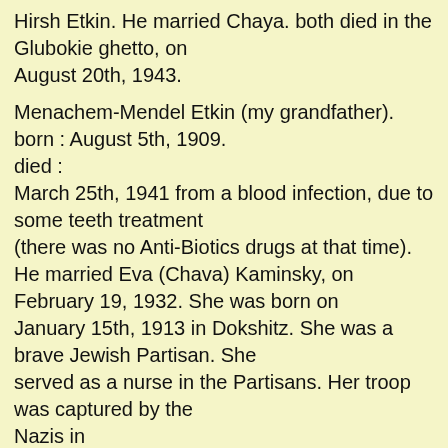Hirsh Etkin. He married Chaya. both died in the Glubokie ghetto, on August 20th, 1943.

Menachem-Mendel Etkin (my grandfather). born : August 5th, 1909.
died :
March 25th, 1941 from a blood infection, due to some teeth treatment
(there was no Anti-Biotics drugs at that time).
He married Eva (Chava) Kaminsky, on February 19, 1932. She was born on
January 15th, 1913 in Dokshitz. She was a brave Jewish Partisan. She
served as a nurse in the Partisans. Her troop was captured by the
Nazis in
the forests of Belarus, close to the area of Glubokie, and they were
hanged
by the Nazis on
June 3rd, 1944 in the forest. Eva had a sister : Lea Kaminsky, who
was
taking care of the twins (below) in the ghetto, during her